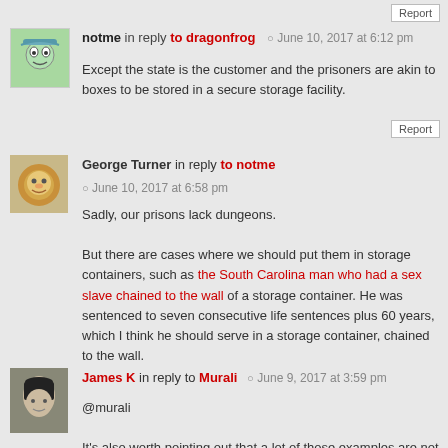Report (top right button)
notme in reply to dragonfrog — June 10, 2017 at 6:12 pm
Except the state is the customer and the prisoners are akin to boxes to be stored in a secure storage facility.
Report
George Turner in reply to notme — June 10, 2017 at 6:58 pm
Sadly, our prisons lack dungeons.

But there are cases where we should put them in storage containers, such as the South Carolina man who had a sex slave chained to the wall of a storage container. He was sentenced to seven consecutive life sentences plus 60 years, which I think he should serve in a storage container, chained to the wall.
Report
James K in reply to Murali — June 9, 2017 at 3:59 pm
@murali

It's also worth pointing out that a lot of those examples are not actually privatisation, they're outsourcing of a government function.